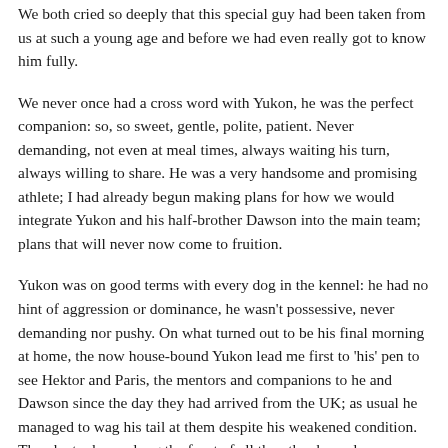We both cried so deeply that this special guy had been taken from us at such a young age and before we had even really got to know him fully.
We never once had a cross word with Yukon, he was the perfect companion: so, so sweet, gentle, polite, patient. Never demanding, not even at meal times, always waiting his turn, always willing to share. He was a very handsome and promising athlete; I had already begun making plans for how we would integrate Yukon and his half-brother Dawson into the main team; plans that will never now come to fruition.
Yukon was on good terms with every dog in the kennel: he had no hint of aggression or dominance, he wasn't possessive, never demanding nor pushy. On what turned out to be his final morning at home, the now house-bound Yukon lead me first to 'his' pen to see Hektor and Paris, the mentors and companions to he and Dawson since the day they had arrived from the UK; as usual he managed to wag his tail at them despite his weakened condition. Then he took me along the front of all the other kennels: every dog without exception came forward and stuck their noses through the fence and wagged their tails in greeting to Yukon. We stopped at the final pen containing Reb,